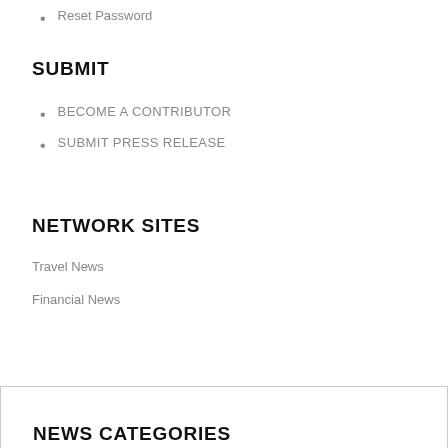Reset Password
SUBMIT
BECOME A CONTRIBUTOR
SUBMIT PRESS RELEASE
NETWORK SITES
Travel News
Financial News
NEWS CATEGORIES